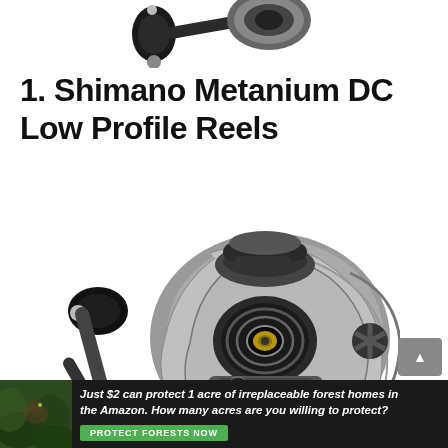[Figure (photo): Partial top view of a fishing baitcasting reel handle in black, cropped at top of page]
1. Shimano Metanium DC Low Profile Reels
[Figure (photo): Shimano Metanium DC low profile baitcasting fishing reel, silver and black, shown at an angle with handle and spool visible]
[Figure (photo): Advertisement banner: forest/Amazon jungle background with animal, text reads 'Just $2 can protect 1 acre of irreplaceable forest homes in the Amazon. How many acres are you willing to protect?' with green PROTECT FORESTS NOW button]